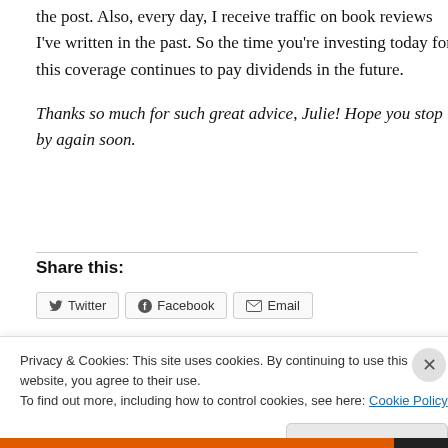the post. Also, every day, I receive traffic on book reviews I've written in the past. So the time you're investing today for this coverage continues to pay dividends in the future.
Thanks so much for such great advice, Julie! Hope you stop by again soon.
Share this:
[Figure (screenshot): Share buttons for Twitter, Facebook, and Email]
Privacy & Cookies: This site uses cookies. By continuing to use this website, you agree to their use.
To find out more, including how to control cookies, see here: Cookie Policy
Close and accept